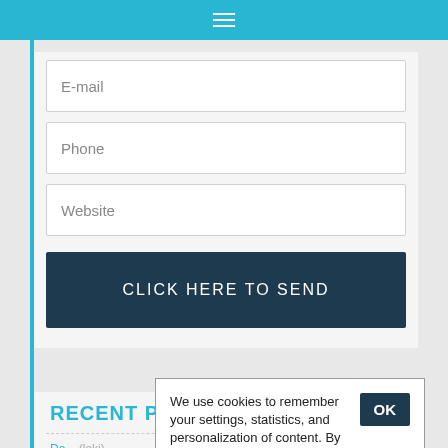≡
E-mail
Phone
Website
CLICK HERE TO SEND
RECENT POSTS
Do... (loki) 90% Increase in Search Visibility with Web Site
We use cookies to remember your settings, statistics, and personalization of content. By using the website you accept this. Read more here.